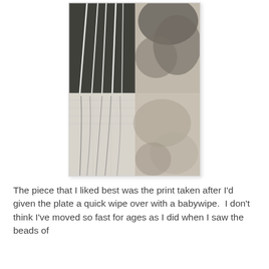[Figure (photo): Abstract black and white print/artwork showing vertical white lines on dark textured background in upper half, and lighter tones with faint branch-like lines in lower half, divided into quadrants.]
The piece that I liked best was the print taken after I'd given the plate a quick wipe over with a babywipe.  I don't think I've moved so fast for ages as I did when I saw the beads of